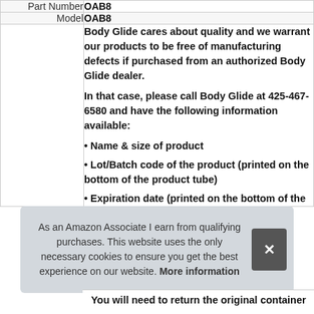| Part Number | OAB8 |
| --- | --- |
| Model | OAB8 |
|  | Body Glide cares about quality and we warrant our products to be free of manufacturing defects if purchased from an authorized Body Glide dealer.
In that case, please call Body Glide at 425-467-6580 and have the following information available:
• Name & size of product
• Lot/Batch code of the product (printed on the bottom of the product tube)
• Expiration date (printed on the bottom of the
You will need to return the original container |
As an Amazon Associate I earn from qualifying purchases. This website uses the only necessary cookies to ensure you get the best experience on our website. More information